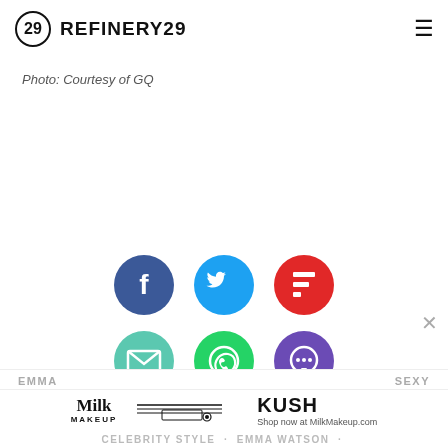REFINERY29
Photo: Courtesy of GQ
[Figure (infographic): Six social share icon buttons in two rows: Facebook (blue), Twitter (cyan), Flipboard (red), Email (teal), WhatsApp (green), Comment (purple)]
EMMA   SEXY